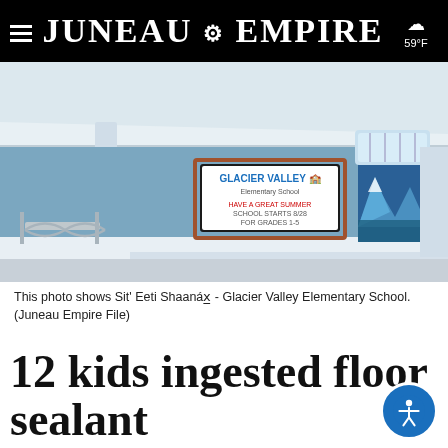Juneau Empire  59°F
[Figure (photo): Exterior photo of Sit' Eeti Shaanáx̲ - Glacier Valley Elementary School showing entrance with blue walls, a school sign, a mural, glass doors, and bike racks under a covered walkway.]
This photo shows Sit' Eeti Shaanáx̲ - Glacier Valley Elementary School. (Juneau Empire File)
12 kids ingested floor sealant